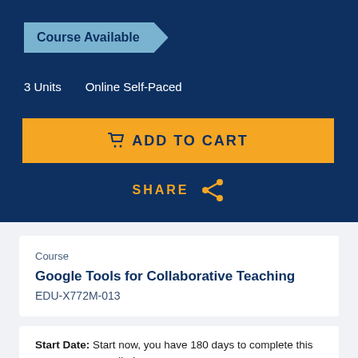Course Available
3 Units    Online Self-Paced
ADD TO CART
SHARE
Course
Google Tools for Collaborative Teaching
EDU-X772M-013
Start Date:  Start now, you have 180 days to complete this course once enrolled.